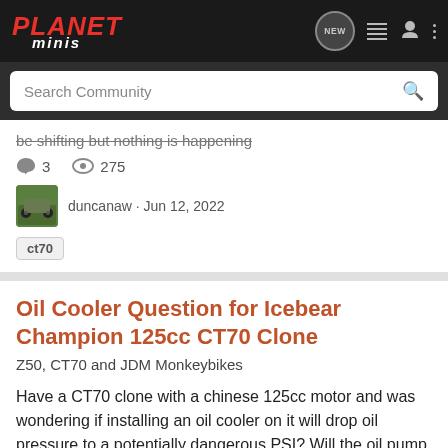[Figure (screenshot): Planet Minis forum navigation bar with logo, NEW button, list icon, user icon, and dots menu]
Search Community
be shifting but nothing is happening
3   275
duncanaw · Jun 12, 2022
ct70
Oil Cooler Question for Icebear Champion 125cc CT70 Clone
Z50, CT70 and JDM Monkeybikes
Have a CT70 clone with a chinese 125cc motor and was wondering if installing an oil cooler on it will drop oil pressure to a potentially dangerous PSI? Will the oil pump in these motors produce enough PSI to run an oil cooler? I will be using this bike on the street for commuting and for joy riding.